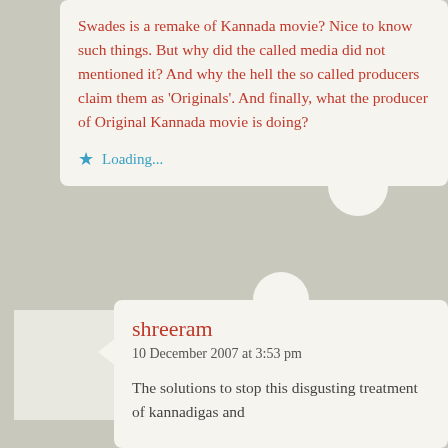Swades is a remake of Kannada movie? Nice to know such things. But why did the called media did not mentioned it? And why the hell the so called producers claim them as 'Originals'. And finally, what the producer of Original Kannada movie is doing?
Loading...
shreeram
10 December 2007 at 3:53 pm
The solutions to stop this disgusting treatment of kannadigas and